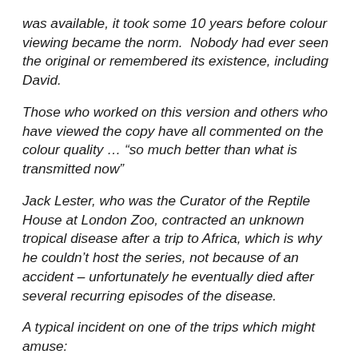was available, it took some 10 years before colour viewing became the norm.  Nobody had ever seen the original or remembered its existence, including David.
Those who worked on this version and others who have viewed the copy have all commented on the colour quality … “so much better than what is transmitted now”
Jack Lester, who was the Curator of the Reptile House at London Zoo, contracted an unknown tropical disease after a trip to Africa, which is why he couldn’t host the series, not because of an accident – unfortunately he eventually died after several recurring episodes of the disease.
A typical incident on one of the trips which might amuse:
David and I were camping by a river when the Indian who was helping us said that he could hear a boat coming with